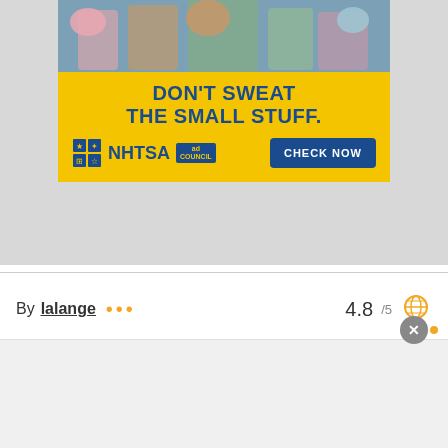[Figure (infographic): NHTSA advertisement banner with photo of children at a fair holding cotton candy and stuffed animals at top, yellow background with text DON'T SWEAT THE SMALL STUFF, NHTSA logo with Ad Council badge, and CHECK NOW button]
By lalange ••• 4.8 /5
615 Plays